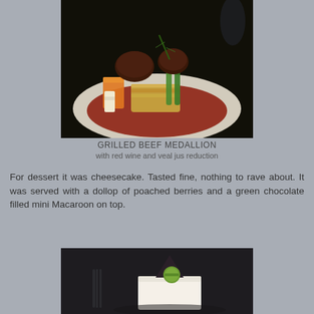[Figure (photo): Photo of a grilled beef medallion dish on a white plate with roasted carrots, green beans, potato gratin, and red wine jus reduction, garnished with rosemary]
GRILLED BEEF MEDALLION
with red wine and veal jus reduction
For dessert it was cheesecake. Tasted fine, nothing to rave about. It was served with a dollop of poached berries and a green chocolate filled mini Macaroon on top.
[Figure (photo): Photo of a white cheesecake dessert on a dark plate, topped with a green macaron and a dark chocolate pyramid decoration, with a fork visible on the left]